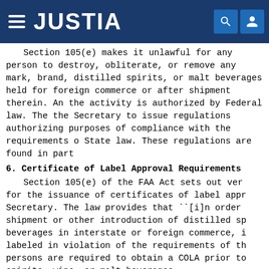JUSTIA
Section 105(e) makes it unlawful for any person to destroy, obliterate, or remove any mark, brand, or trade name on distilled spirits, or malt beverages held for sale in interstate or foreign commerce or after shipment therein. An exception applies if the activity is authorized by Federal law. The section also directs the Secretary to issue regulations authorizing relabeling for purposes of compliance with the requirements of any applicable State law. These regulations are found in part 5.
6. Certificate of Label Approval Requirements
Section 105(e) of the FAA Act sets out very specific criteria for the issuance of certificates of label approval by the Secretary. The law provides that ``[i]n order to prevent the shipment or other introduction of distilled spirits, wine, or malt beverages in interstate or foreign commerce, if bottled or packaged, labeled in violation of the requirements of this subchapter, persons are required to obtain a COLA prior to bottling distilled spirits, wine, or malt beverages.